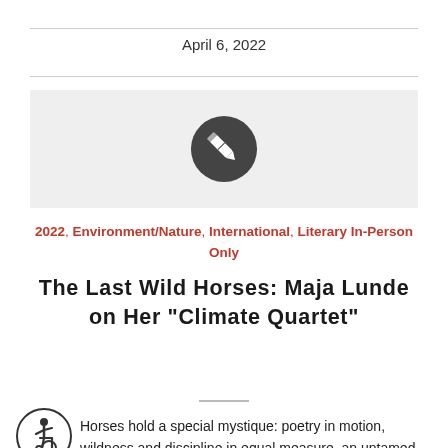April 6, 2022
[Figure (illustration): Dark gray circle with a white pencil/edit icon in the center, on a light gray background banner]
2022, Environment/Nature, International, Literary In-Person Only
The Last Wild Horses: Maja Lunde on Her “Climate Quartet”
Horses hold a special mystique: poetry in motion, wildness and discipline in equal measure, an untamed spirit tempered by